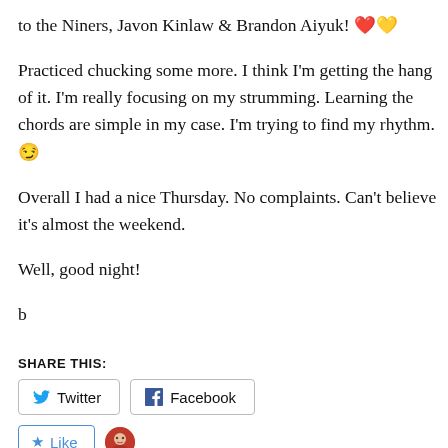to the Niners, Javon Kinlaw & Brandon Aiyuk! ❤️💛
Practiced chucking some more. I think I'm getting the hang of it. I'm really focusing on my strumming. Learning the chords are simple in my case. I'm trying to find my rhythm. 😏
Overall I had a nice Thursday. No complaints. Can't believe it's almost the weekend.
Well, good night!
b
SHARE THIS:
[Figure (other): Twitter and Facebook share buttons]
[Figure (other): Like button with user avatar]
One blogger likes this.